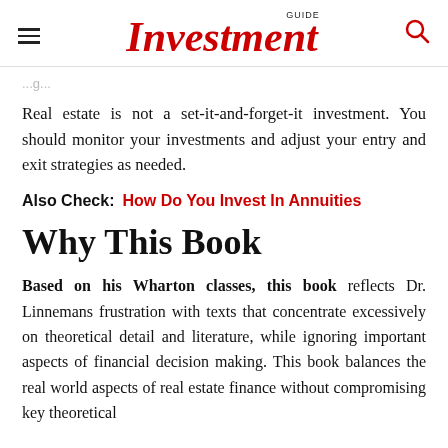Investment GUIDE
Real estate is not a set-it-and-forget-it investment. You should monitor your investments and adjust your entry and exit strategies as needed.
Also Check: How Do You Invest In Annuities
Why This Book
Based on his Wharton classes, this book reflects Dr. Linnemans frustration with texts that concentrate excessively on theoretical detail and literature, while ignoring important aspects of financial decision making. This book balances the real world aspects of real estate finance without compromising key theoretical